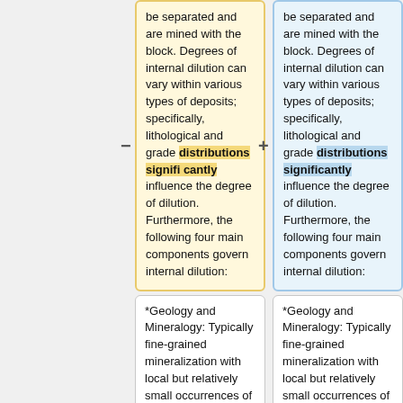be separated and are mined with the block. Degrees of internal dilution can vary within various types of deposits; specifically, lithological and grade distributions significantly influence the degree of dilution. Furthermore, the following four main components govern internal dilution:
be separated and are mined with the block. Degrees of internal dilution can vary within various types of deposits; specifically, lithological and grade distributions significantly influence the degree of dilution. Furthermore, the following four main components govern internal dilution:
*Geology and Mineralogy: Typically fine-grained mineralization with local but relatively small occurrences of mineralization.
*Geology and Mineralogy: Typically fine-grained mineralization with local but relatively small occurrences of mineralization.